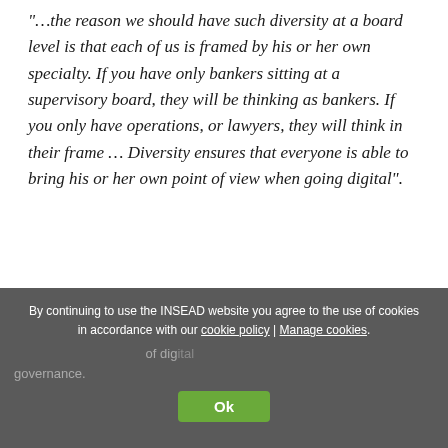“…the reason we should have such diversity at a board level is that each of us is framed by his or her own specialty. If you have only bankers sitting at a supervisory board, they will be thinking as bankers. If you only have operations, or lawyers, they will think in their frame … Diversity ensures that everyone is able to bring his or her own point of view when going digital”.
5. Having a digital advisory board, or subcommittee, may suit some organisations and allow some flexibility.
By continuing to use the INSEAD website you agree to the use of cookies in accordance with our cookie policy | Manage cookies.